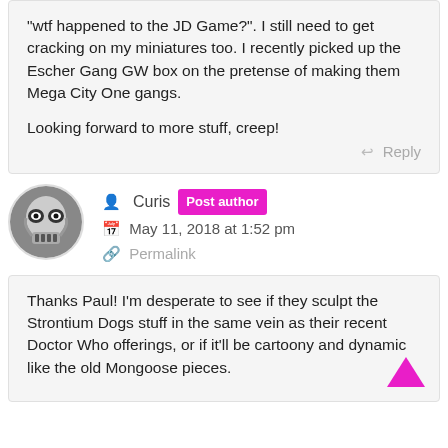“wtf happened to the JD Game?”. I still need to get cracking on my miniatures too. I recently picked up the Escher Gang GW box on the pretense of making them Mega City One gangs.

Looking forward to more stuff, creep!
Reply
Curis  Post author
May 11, 2018 at 1:52 pm
Permalink
Thanks Paul! I’m desperate to see if they sculpt the Strontium Dogs stuff in the same vein as their recent Doctor Who offerings, or if it’ll be cartoony and dynamic like the old Mongoose pieces.